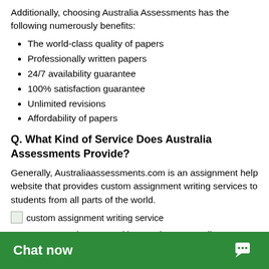Additionally, choosing Australia Assessments has the following numerously benefits:
The world-class quality of papers
Professionally written papers
24/7 availability guarantee
100% satisfaction guarantee
Unlimited revisions
Affordability of papers
Q. What Kind of Service Does Australia Assessments Provide?
Generally, Australiaassessments.com is an assignment help website that provides custom assignment writing services to students from all parts of the world.
[Figure (photo): custom assignment writing service image placeholder]
Custom assignment writing services: Australia Assessments offers customized writing help for any type of academic work. From assignments, essays, dissertations, presentations, reviews, and case studies, highly-skilled academic writers help students of any acade…